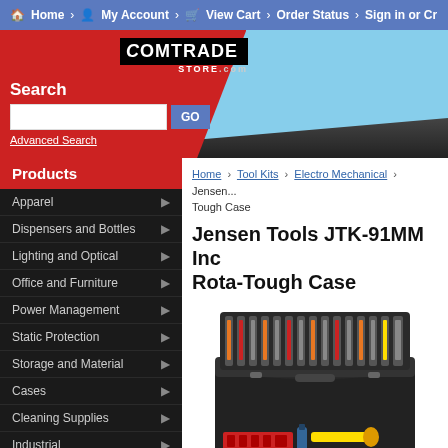Home > My Account > View Cart > Order Status > Sign in or Cr...
[Figure (logo): Comtrade Store.com logo with search bar and header]
Products
Apparel
Dispensers and Bottles
Lighting and Optical
Office and Furniture
Power Management
Static Protection
Storage and Material
Cases
Cleaning Supplies
Industrial
Networking
Home > Tool Kits > Electro Mechanical > Jensen... Tough Case
Jensen Tools JTK-91MM Inc Rota-Tough Case
[Figure (photo): Photo of Jensen Tools JTK-91MM tool kit in open black Rota-Tough Case showing various tools organized in lid and tray]